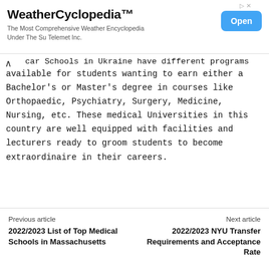[Figure (other): WeatherCyclopedia advertisement banner with title, subtitle 'The Most Comprehensive Weather Encyclopedia Under The Su Telemet Inc.' and an 'Open' button]
car Schools in Ukraine have different programs available for students wanting to earn either a Bachelor's or Master's degree in courses like Orthopaedic, Psychiatry, Surgery, Medicine, Nursing, etc. These medical Universities in this country are well equipped with facilities and lecturers ready to groom students to become extraordinaire in their careers.
Previous article
2022/2023 List of Top Medical Schools in Massachusetts
Next article
2022/2023 NYU Transfer Requirements and Acceptance Rate